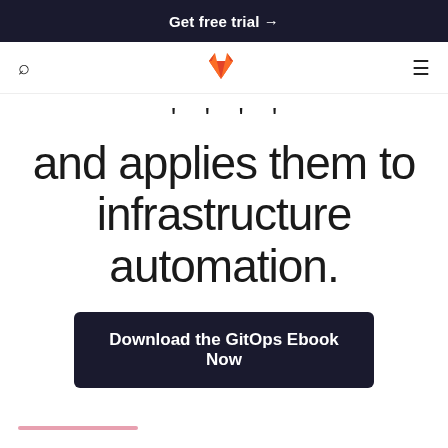Get free trial →
[Figure (logo): GitLab fox logo in orange and red]
, , , ,
and applies them to infrastructure automation.
Download the GitOps Ebook Now